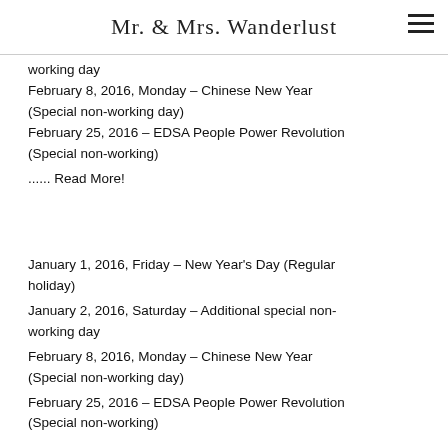Mr. & Mrs. Wanderlust
working day
February 8, 2016, Monday – Chinese New Year (Special non-working day)
February 25, 2016 – EDSA People Power Revolution (Special non-working)
...... Read More!
January 1, 2016, Friday – New Year's Day (Regular holiday)
January 2, 2016, Saturday – Additional special non-working day
February 8, 2016, Monday – Chinese New Year (Special non-working day)
February 25, 2016 – EDSA People Power Revolution (Special non-working)